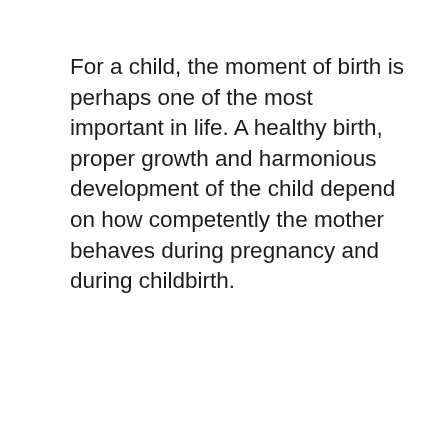For a child, the moment of birth is perhaps one of the most important in life. A healthy birth, proper growth and harmonious development of the child depend on how competently the mother behaves during pregnancy and during childbirth.
About us
Contact
Privacy Policy & Cookies
ATTENTION TO RIGHT HOLDERS! All materials are posted on the site strictly for informational and educational purposes! If